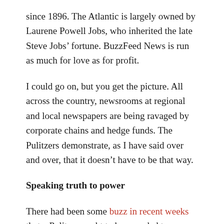since 1896. The Atlantic is largely owned by Laurene Powell Jobs, who inherited the late Steve Jobs’ fortune. BuzzFeed News is run as much for love as for profit.
I could go on, but you get the picture. All across the country, newsrooms at regional and local newspapers are being ravaged by corporate chains and hedge funds. The Pulitzers demonstrate, as I have said over and over, that it doesn’t have to be that way.
Speaking truth to power
There had been some buzz in recent weeks that a Pulitzer ought to be awarded to Darnella Frazier, the then-17-year-old who turned her smartphone camera